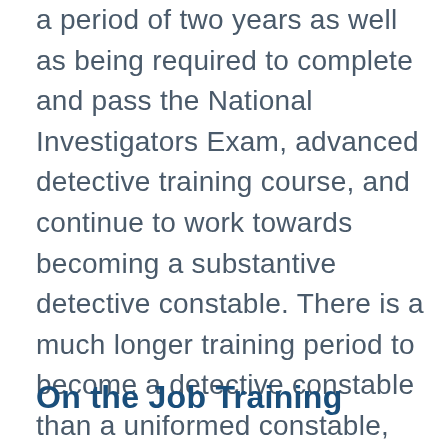a period of two years as well as being required to complete and pass the National Investigators Exam, advanced detective training course, and continue to work towards becoming a substantive detective constable. There is a much longer training period to become a detective constable than a uniformed constable, but there are also many benefits of choosing this career path.
On the Job Training